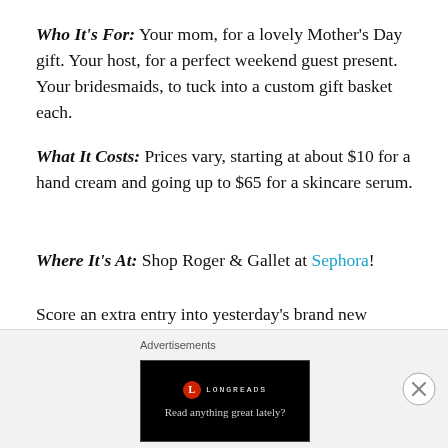Who It's For: Your mom, for a lovely Mother's Day gift. Your host, for a perfect weekend guest present. Your bridesmaids, to tuck into a custom gift basket each.
What It Costs: Prices vary, starting at about $10 for a hand cream and going up to $65 for a skincare serum.
Where It's At: Shop Roger & Gallet at Sephora!
Score an extra entry into yesterday's brand new MONQ giveaway – tell me in the comments below; which Roger & Gallet product are you most keen on trying? Peruse 'em here.
Advertisements
[Figure (screenshot): Longreads advertisement banner with black background reading 'Read anything great lately?']